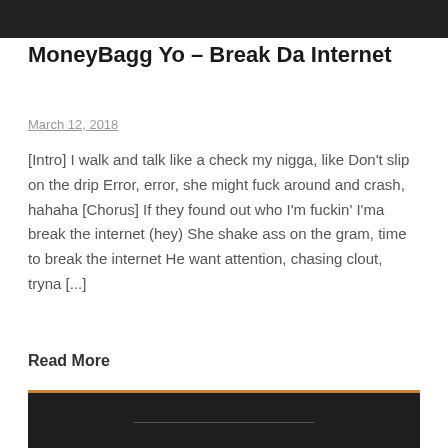[Figure (other): Dark header bar at top of page]
MoneyBagg Yo – Break Da Internet
March 12, 2018
[Intro] I walk and talk like a check my nigga, like Don't slip on the drip Error, error, she might fuck around and crash, hahaha [Chorus] If they found out who I'm fuckin' I'ma break the internet (hey) She shake ass on the gram, time to break the internet He want attention, chasing clout, tryna [...]
Read More
[Figure (screenshot): Dark video player area with orange top border and horizontal line]